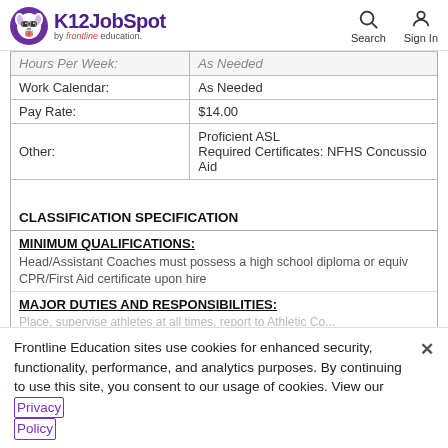K12JobSpot by frontline education. Search Sign In
| Field | Value |
| --- | --- |
| Hours Per Week: | As Needed |
| Work Calendar: | As Needed |
| Pay Rate: | $14.00 |
| Other: | Proficient ASL
Required Certificates: NFHS Concussion
Aid |
CLASSIFICATION SPECIFICATION
MINIMUM QUALIFICATIONS:
Head/Assistant Coaches must possess a high school diploma or equiv
CPR/First Aid certificate upon hire
MAJOR DUTIES AND RESPONSIBILITIES:
Place, supervise athletes at all times, report to Athletic Co...
Frontline Education sites use cookies for enhanced security, functionality, performance, and analytics purposes. By continuing to use this site, you consent to our usage of cookies. View our Privacy Policy